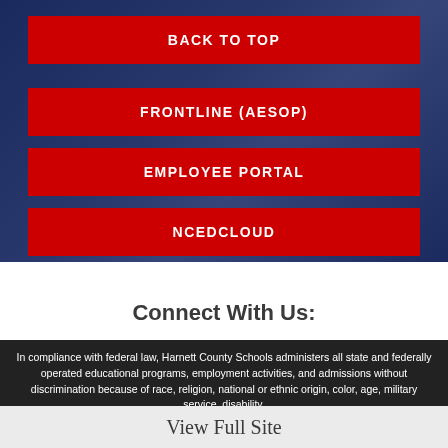BACK TO TOP
FRONTLINE (AESOP)
EMPLOYEE PORTAL
NCEDCLOUD
Connect With Us:
[Figure (other): Social media icons: Facebook, Twitter, Instagram, Peach]
In compliance with federal law, Harnett County Schools administers all state and federally operated educational programs, employment activities, and admissions without discrimination because of race, religion, national or ethnic origin, color, age, military service, disability,
View Full Site